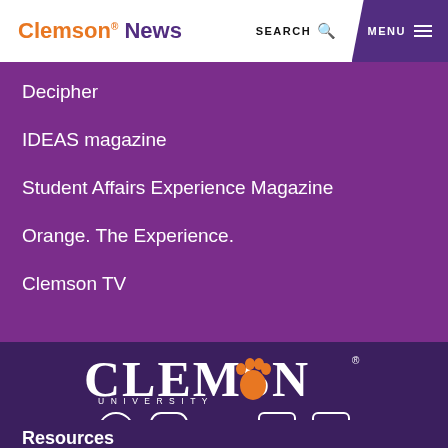Clemson News  SEARCH  MENU
Decipher
IDEAS magazine
Student Affairs Experience Magazine
Orange. The Experience.
Clemson TV
[Figure (logo): Clemson University logo with paw print replacing the O, white text on dark purple background, with social media icons below (Facebook, Instagram, Twitter, LinkedIn, YouTube)]
Resources